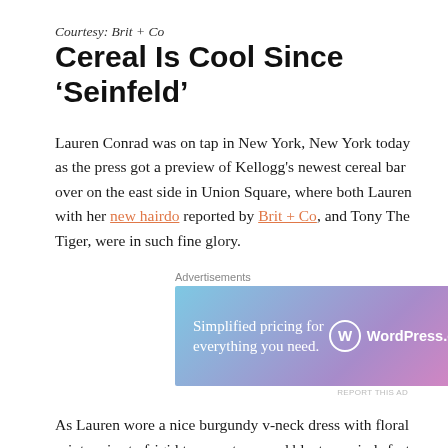Courtesy: Brit + Co
Cereal Is Cool Since ‘Seinfeld’
Lauren Conrad was on tap in New York, New York today as the press got a preview of Kellogg’s newest cereal bar over on the east side in Union Square, where both Lauren with her new hairdo reported by Brit + Co, and Tony The Tiger, were in such fine glory.
[Figure (other): WordPress.com advertisement banner: 'Simplified pricing for everything you need.' with WordPress.com logo on gradient blue-purple-pink background]
As Lauren wore a nice burgundy v-neck dress with floral prints prior to frigid temperatures and blustery winds fast approaching, Lauren’s hair stylist, Kristin Ess, was on tap for the Kellogg’s cereal bar preview, as Kristin was the